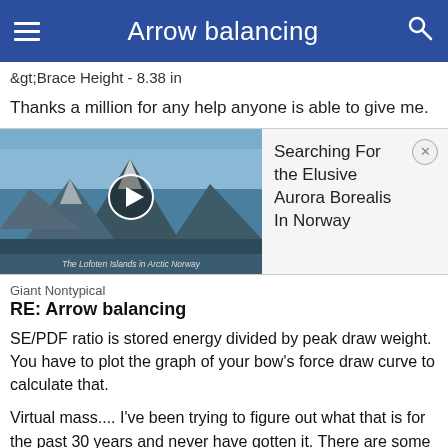Arrow balancing
&gt;Brace Height - 8.38 in
Thanks a million for any help anyone is able to give me.
[Figure (screenshot): Video thumbnail showing The Lofoten Islands in Arctic Norway with a play button, and a panel titled 'Searching For the Elusive Aurora Borealis In Norway' with a close button.]
Giant Nontypical
RE: Arrow balancing
SE/PDF ratio is stored energy divided by peak draw weight. You have to plot the graph of your bow's force draw curve to calculate that.
Virtual mass.... I've been trying to figure out what that is for the past 30 years and never have gotten it. There are some concepts my brain simply refuses to work on, and that's one of 'em. (I think it's got more common sense than I do. 🙂)